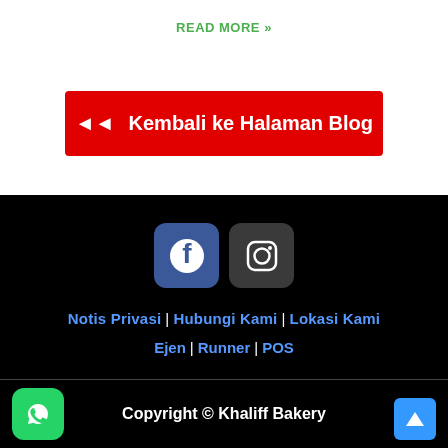READ MORE »
◄◄ Kembali ke Halaman Blog
[Figure (logo): Facebook and Instagram social media icons (buttons)]
Notis Privasi | Hubungi Kami | Lokasi Kami
Ejen | Runner | POS
Copyright © Khaliff Bakery